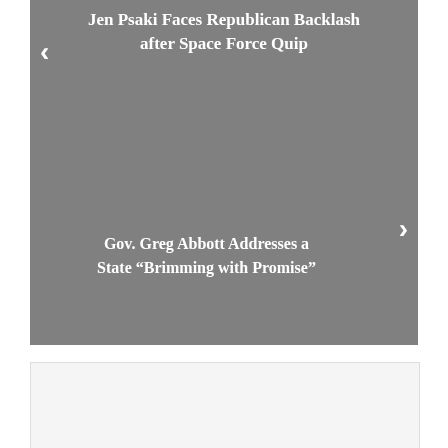[Figure (screenshot): Slideshow panel with gray background showing two news article titles with navigation arrows. Top title: 'Jen Psaki Faces Republican Backlash after Space Force Quip'. Bottom title: 'Gov. Greg Abbott Addresses a State "Brimming with Promise"'. Left arrow and right arrow navigation controls visible.]
[Figure (screenshot): Lower white/light gray panel, partially visible, appears to be another content card or advertisement area.]